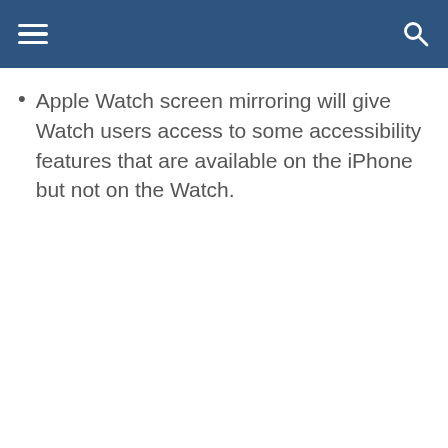Apple Watch screen mirroring will give Watch users access to some accessibility features that are available on the iPhone but not on the Watch.